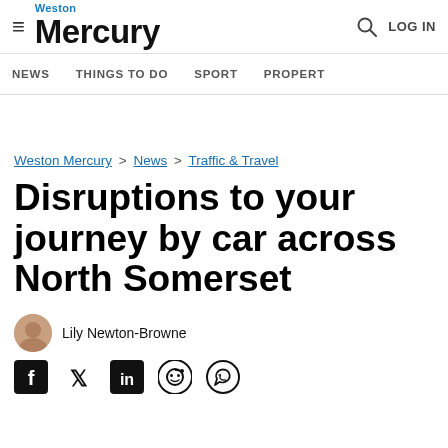Weston Mercury — NEWS | THINGS TO DO | SPORT | PROPERTY | Search | LOG IN
Weston Mercury > News > Traffic & Travel
Disruptions to your journey by car across North Somerset
Lily Newton-Browne